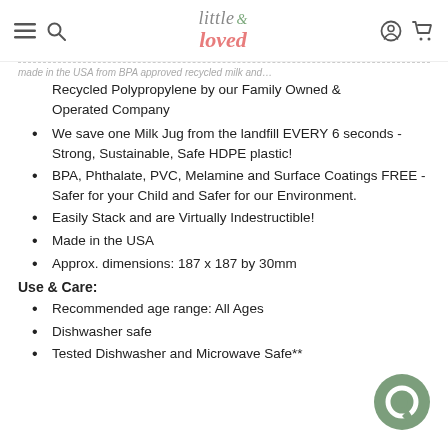little & loved
made in the USA from BPA approved recycled milk and Recycled Polypropylene by our Family Owned & Operated Company
We save one Milk Jug from the landfill EVERY 6 seconds - Strong, Sustainable, Safe HDPE plastic!
BPA, Phthalate, PVC, Melamine and Surface Coatings FREE - Safer for your Child and Safer for our Environment.
Easily Stack and are Virtually Indestructible!
Made in the USA
Approx. dimensions: 187 x 187 by 30mm
Use & Care:
Recommended age range: All Ages
Dishwasher safe
Tested Dishwasher and Microwave Safe**